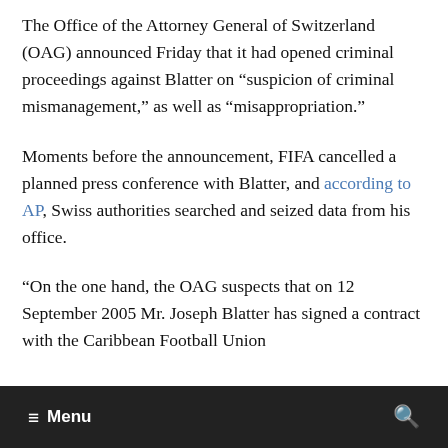The Office of the Attorney General of Switzerland (OAG) announced Friday that it had opened criminal proceedings against Blatter on “suspicion of criminal mismanagement,” as well as “misappropriation.”
Moments before the announcement, FIFA cancelled a planned press conference with Blatter, and according to AP, Swiss authorities searched and seized data from his office.
“On the one hand, the OAG suspects that on 12 September 2005 Mr. Joseph Blatter has signed a contract with the Caribbean Football Union
Menu  🔍